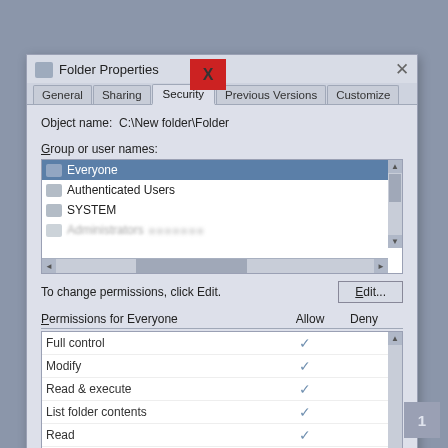[Figure (screenshot): Windows Folder Properties dialog box showing the Security tab. Title bar reads 'Folder Properties' with a red X overlay button. Tabs: General, Sharing, Security (active), Previous Versions, Customize. Object name: C:\New folder\Folder. Group or user names list: Everyone (selected/highlighted), Authenticated Users, SYSTEM, Administrators (partially visible). Edit button. Permissions for Everyone table with Allow/Deny columns: Full control (Allow checked), Modify (Allow checked), Read & execute (Allow checked), List folder contents (Allow checked), Read (Allow checked), Write (Allow checked, partially visible). Advanced button at bottom. For special permissions or advanced settings, click Advanced.]